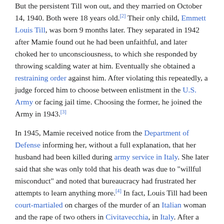But the persistent Till won out, and they married on October 14, 1940. Both were 18 years old.[2] Their only child, Emmett Louis Till, was born 9 months later. They separated in 1942 after Mamie found out he had been unfaithful, and later choked her to unconsciousness, to which she responded by throwing scalding water at him. Eventually she obtained a restraining order against him. After violating this repeatedly, a judge forced him to choose between enlistment in the U.S. Army or facing jail time. Choosing the former, he joined the Army in 1943.[3]
In 1945, Mamie received notice from the Department of Defense informing her, without a full explanation, that her husband had been killed during army service in Italy. She later said that she was only told that his death was due to "willful misconduct" and noted that bureaucracy had frustrated her attempts to learn anything more.[4] In fact, Louis Till had been court-martialed on charges of the murder of an Italian woman and the rape of two others in Civitavecchia, in Italy. After a lengthy investigation, he was convicted and was executed by hanging near Pisa on July 2, 1945.[4][5] But the details of Till's execution only fully emerged ten years later, after the murder of his son Emmett and the subsequent trial